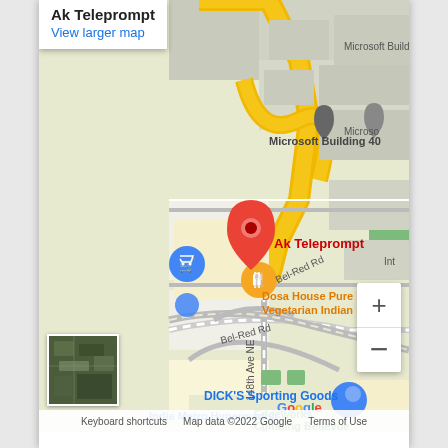[Figure (map): Google Maps screenshot showing 'Ak Teleprompt' location in Bellevue/Redmond area, WA. Shows Microsoft Building 40, Bel-Red Rd, 148th Ave NE, DICK'S Sporting Goods, Edgeworks Climbing Bellevue, Dosa House Pure Vegetarian Indian Food, India Metro Hypermarket. Red location pin marks Ak Teleprompt. Map data ©2022 Google.]
Ak Teleprompt
View larger map
Microsoft Building 40
Ak Teleprompt
Dosa House Pure Vegetarian Indian Food
DICK'S Sporting Goods
Edgeworks Climbing Bellevue
India Metro Hypermarket
Keyboard shortcuts   Map data ©2022 Google   Terms of Use